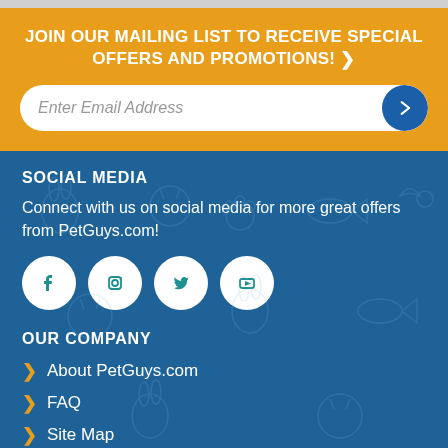JOIN OUR MAILING LIST TO RECEIVE SPECIAL OFFERS AND PROMOTIONS! ❯
Enter Email Address
SOCIAL MEDIA
Connect with us on social media for more great offers from PetGuys.com!
[Figure (infographic): Social media icons: Facebook, Instagram, Twitter, YouTube]
OUR COMPANY
About PetGuys.com
FAQ
Site Map
Contact PetGuys.com